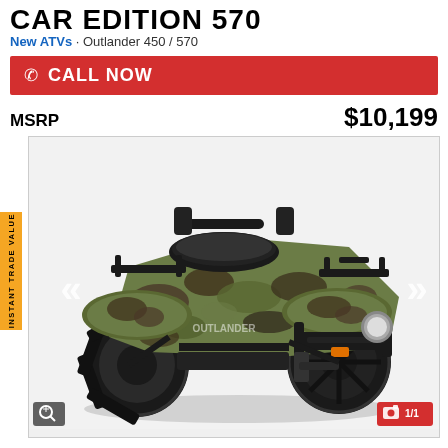CAR EDITION 570
New ATVs · Outlander 450 / 570
CALL NOW
MSRP $10,199
[Figure (photo): Can-Am Outlander 570 ATV in camouflage pattern finish, shown in 3/4 front view on white background. The ATV has black wheels, front and rear racks, and mossy oak camo body panels.]
INSTANT TRADE VALUE
1/1